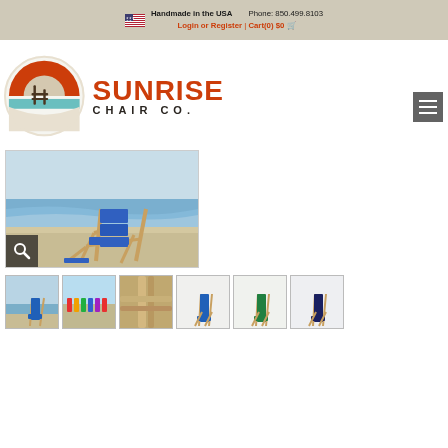Handmade in the USA    Phone: 850.499.8103
Login or Register | Cart(0) $0
[Figure (logo): Sunrise Chair Co. logo: circular emblem with orange arc, beach chair silhouette, and ocean; next to large text SUNRISE CHAIR CO. in orange/dark]
[Figure (photo): Blue beach chair with wooden frame on sandy beach with ocean waves in background]
[Figure (photo): Thumbnail: blue beach chair on beach]
[Figure (photo): Thumbnail: multiple colorful beach chairs in a row]
[Figure (photo): Thumbnail: close-up of chair wood detail]
[Figure (photo): Thumbnail: blue beach chair product shot]
[Figure (photo): Thumbnail: green beach chair product shot]
[Figure (photo): Thumbnail: navy/dark blue beach chair product shot]